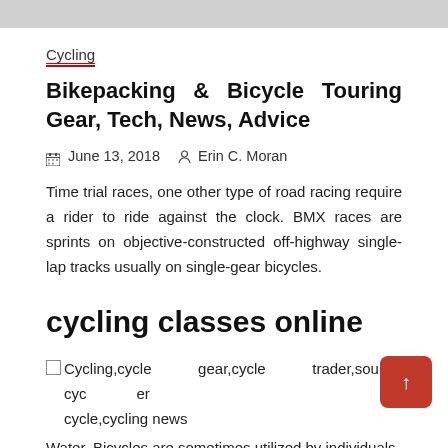Cycling
Bikepacking & Bicycle Touring Gear, Tech, News, Advice
June 13, 2018   Erin C. Moran
Time trial races, one other type of road racing require a rider to ride against the clock. BMX races are sprints on objective-constructed off-highway single-lap tracks usually on single-gear bicycles.
cycling classes online
Cycling,cycle gear,cycle trader,soul cycle,cycling news
Water. Bicycles are sometimes utilized by individuals